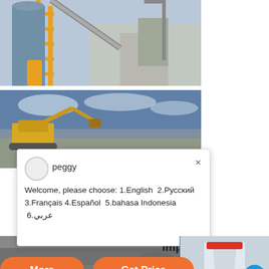[Figure (photo): Industrial plant with yellow metal framework, large silo/tower, conveyor belt, and factory buildings in background]
[Figure (photo): Excavator/construction machinery at a quarry or mining site with water and sky in background]
peggy
Welcome, please choose: 1.English 2.Русский 3.Français 4.Español 5.bahasa Indonesia 6.عربي
basmak impact crusher - piadinabarал
More
Get Price
Email contact
1
Click me to chat>>
Enquiry
yuwencrusher